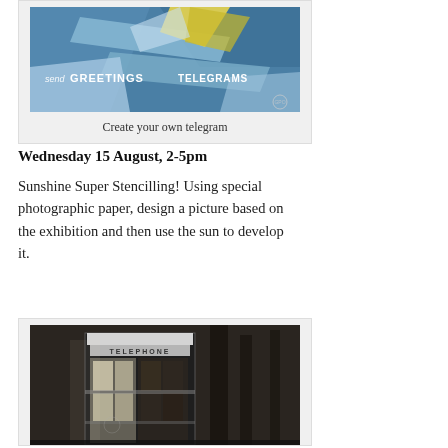[Figure (photo): Colorful geometric poster with text 'send GREETINGS TELEGRAMS' on a blue background with abstract shapes]
Create your own telegram
Wednesday 15 August, 2-5pm
Sunshine Super Stencilling! Using special photographic paper, design a picture based on the exhibition and then use the sun to develop it.
[Figure (photo): Sepia/dark photograph of a classic British red telephone box (K2 style) illuminated at night, with trees in the background]